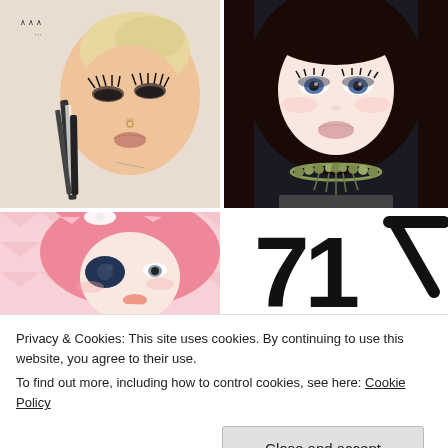[Figure (illustration): 3D rendered avatar: blonde hair with black and white feather extensions, dramatic eye makeup, nose ring, birds/dots pattern top left corner]
[Figure (illustration): 3D rendered avatar: dark brown hair, blue eyes, bead necklace, dark jacket]
[Figure (illustration): 3D rendered avatar: pink hair, cat ears, white bow, eye patch, pink chevron background]
[Figure (illustration): Large bold black arrow/number 7 shape on white background]
Privacy & Cookies: This site uses cookies. By continuing to use this website, you agree to their use.
To find out more, including how to control cookies, see here: Cookie Policy
Close and accept
[Figure (illustration): Bottom-left partial image: black and white pattern/avatar]
[Figure (illustration): Bottom-right partial image: dark-haired avatar]